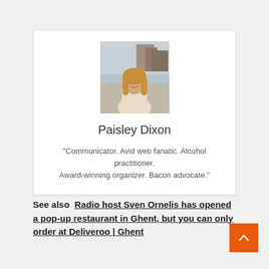[Figure (photo): Profile photo of a young woman with long blonde hair wearing a cream-colored sweater, smiling, with an urban background]
Paisley Dixon
"Communicator. Avid web fanatic. Alcohol practitioner. Award-winning organizer. Bacon advocate."
See also  Radio host Sven Ornelis has opened a pop-up restaurant in Ghent, but you can only order at Deliveroo | Ghent